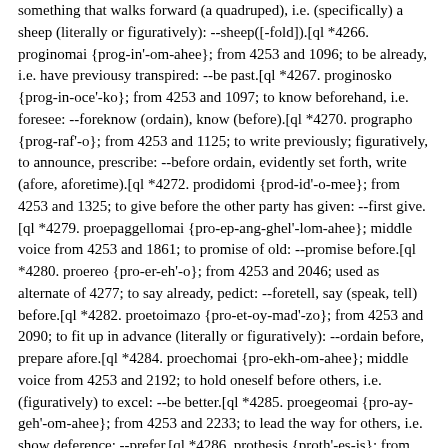something that walks forward (a quadruped), i.e. (specifically) a sheep (literally or figuratively): --sheep([-fold]).[ql *4266. proginomai {prog-in'-om-ahee}; from 4253 and 1096; to be already, i.e. have previousy transpired: --be past.[ql *4267. proginosko {prog-in-oce'-ko}; from 4253 and 1097; to know beforehand, i.e. foresee: --foreknow (ordain), know (before).[ql *4270. prographo {prog-raf'-o}; from 4253 and 1125; to write previously; figuratively, to announce, prescribe: --before ordain, evidently set forth, write (afore, aforetime).[ql *4272. prodidomi {prod-id'-o-mee}; from 4253 and 1325; to give before the other party has given: --first give.[ql *4279. proepaggellomai {pro-ep-ang-ghel'-lom-ahee}; middle voice from 4253 and 1861; to promise of old: --promise before.[ql *4280. proereo {pro-er-eh'-o}; from 4253 and 2046; used as alternate of 4277; to say already, pedict: --foretell, say (speak, tell) before.[ql *4282. proetoimazo {pro-et-oy-mad'-zo}; from 4253 and 2090; to fit up in advance (literally or figuratively): --ordain before, prepare afore.[ql *4284. proechomai {pro-ekh-om-ahee}; middle voice from 4253 and 2192; to hold oneself before others, i.e. (figuratively) to excel: --be better.[ql *4285. proegeomai {pro-ay-geh'-om-ahee}; from 4253 and 2233; to lead the way for others, i.e. show deference: --prefer.[ql *4286. prothesis {proth'-es-is}; from 4388; a setting forth, i.e. (figuratively) proposal (intention); specifically, the show-bread (in the Temple) as exposed before God: --purpose, shew[-bread].[ql *4289. prothumos {proth'-oo-mos}; from 4253 and 2372; forward